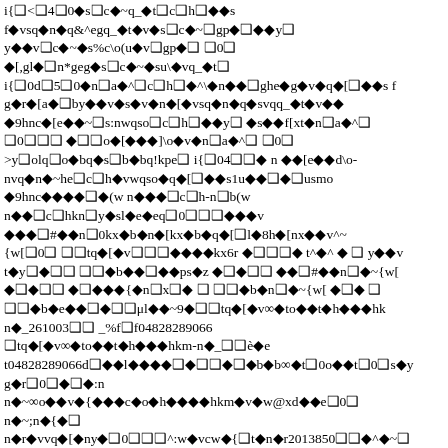i{❑<❑4❑0◆s❑c◆~q_◆t❑c❑h❑◆◆s f◆vsq◆n◆q&^egq_◆t◆v◆s❑c◆~❑gp◆❑◆◆y❑ y◆◆v❑c◆~◆s%c\o(u◆v❑gp◆❑ ❑0❑ ◆[,gl◆❑n*geg◆s❑c◆~◆su\◆vq_◆t❑ i{❑0d❑5❑0◆n❑a◆^❑c❑h❑◆^\◆n◆◆❑ghe◆g◆v◆q◆[❑◆◆s f g◆r◆[a◆❑by◆◆v◆s◆v◆n◆[◆vsq◆n◆q◆svqq_◆t◆v◆◆ ◆9hnc◆[e◆◆~❑s:nwqso❑c❑h❑◆◆y❑ ◆s◆◆f[xt◆n❑a◆^❑ ❑0❑❑❑ ◆❑❑o◆[◆◆◆]\o◆v◆n❑a◆^❑ ❑0❑ >y❑olq❑o◆bq◆s❑b◆bq!kpe❑ i{❑04❑❑◆ n ◆◆[e◆◆d\o-nvq◆n◆~he❑c❑h◆vwqso◆q◆[❑◆◆s1u◆◆❑◆❑usmo ◆9hnc◆◆◆◆❑◆(w n◆◆◆❑c❑h-n❑b(w n◆◆❑c❑hkn❑y◆sl◆e◆eq❑0❑❑❑◆◆◆v ◆◆◆❑#◆◆n❑0kx◆b◆n◆[kx◆b◆q◆[❑l◆8h◆[nx◆◆v^~{w[❑0❑ ❑❑tq◆[◆v❑❑❑◆◆◆◆kx6r ◆❑❑❑◆ t^◆^ ◆ ❑ y◆◆v t◆y❑◆❑❑ ❑❑◆b◆◆❑◆◆ps◆z ◆❑◆❑❑ ◆◆❑#◆◆n❑◆~{w[ ◆❑◆❑❑ ◆❑◆◆◆{◆n❑x❑◆ ❑ ❑❑◆b◆n❑◆~{w[ ◆❑◆ ❑ ❑❑◆b◆e◆◆❑◆❑❑μl◆◆~9◆❑❑tq◆[◆v∞◆to◆◆t◆h◆◆◆hk n◆_261003❑❑ _%f❑f04828289066 ❑tq◆[◆v∞◆to◆◆t◆h◆◆◆hkm-n◆_❑❑è◆e t04828289066d❑◆◆l◆◆◆◆❑◆❑❑◆❑◆b◆b∞◆t❑0o◆◆t❑0❑s◆y g◆r❑0❑◆❑◆:n n◆~∞o◆◆v◆{◆◆◆c◆o◆h◆◆◆◆hkm◆v◆w@xd◆◆e❑0❑ n◆~;n◆{◆❑ n◆r◆vvq◆[◆ny◆❑0❑❑❑^:w◆vcw◆{❑t◆n◆r2013850❑❑◆^◆~❑